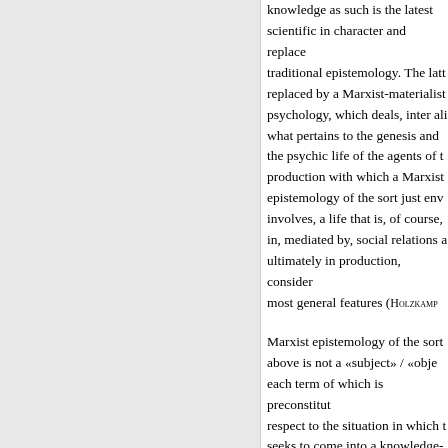knowledge as such is the latest scientific in character and replaces traditional epistemology. The latter replaced by a Marxist-materialist psychology, which deals, inter alia, what pertains to the genesis and the psychic life of the agents of the production with which a Marxist epistemology of the sort just envisages involves, a life that is, of course, in, mediated by, social relations and ultimately in production, considered most general features (HOLZKAMP
Marxist epistemology of the sort above is not a «subject» / «object» each term of which is preconstituted respect to the situation in which the seeks to come into a knowledge-relation with the second, but rather a practical relation within which subjective and objective elements may be distinguished